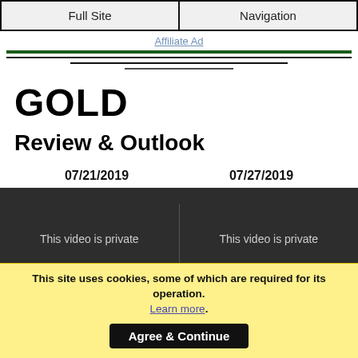Full Site | Navigation
Affiliate Ad
GOLD
Review & Outlook
07/21/2019    07/27/2019
[Figure (screenshot): Two side-by-side video players both showing 'This video is private' message on dark background]
This site uses cookies, some of which are required for its operation. Learn more. Agree & Continue